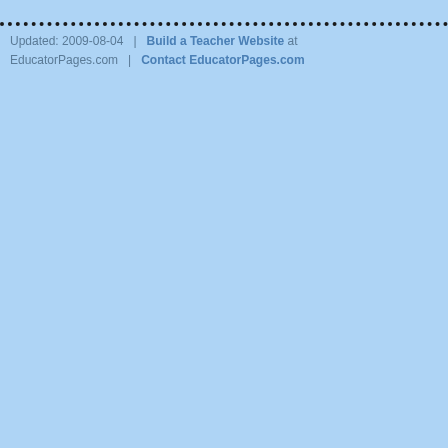Updated: 2009-08-04  |  Build a Teacher Website at EducatorPages.com  |  Contact EducatorPages.com